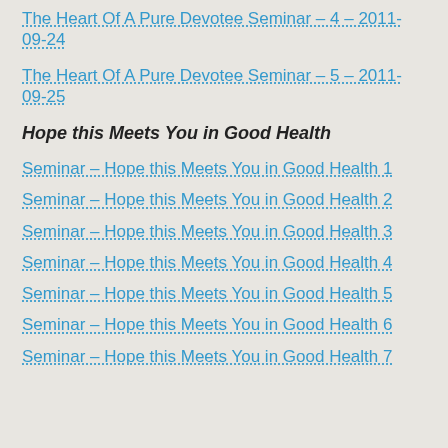The Heart Of A Pure Devotee Seminar – 4 – 2011-09-24
The Heart Of A Pure Devotee Seminar – 5 – 2011-09-25
Hope this Meets You in Good Health
Seminar – Hope this Meets You in Good Health 1
Seminar – Hope this Meets You in Good Health 2
Seminar – Hope this Meets You in Good Health 3
Seminar – Hope this Meets You in Good Health 4
Seminar – Hope this Meets You in Good Health 5
Seminar – Hope this Meets You in Good Health 6
Seminar – Hope this Meets You in Good Health 7